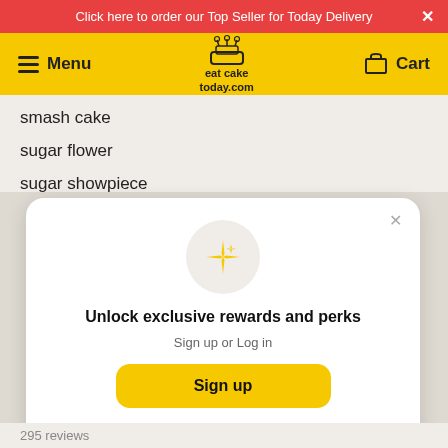Click here to order our Top Seller for Today Delivery
Menu  eat cake today.com  Cart
smash cake
sugar flower
sugar showpiece
[Figure (screenshot): Modal dialog with sparkle icon, title 'Unlock exclusive rewards and perks', subtitle 'Sign up or Log in', a yellow Sign up button, and a 'Already have an account? Sign in' link]
Unlock exclusive rewards and perks
Sign up or Log in
Sign up
Already have an account? Sign in
295 reviews